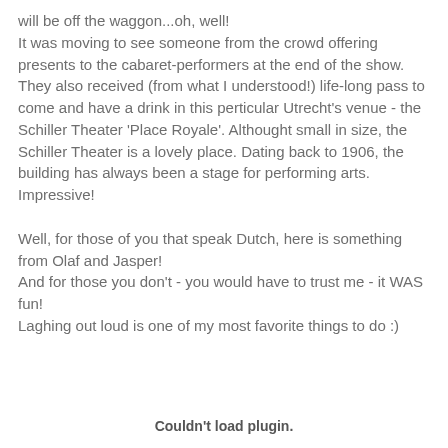will be off the waggon...oh, well!
It was moving to see someone from the crowd offering presents to the cabaret-performers at the end of the show. They also received (from what I understood!) life-long pass to come and have a drink in this perticular Utrecht's venue - the Schiller Theater 'Place Royale'. Althought small in size, the Schiller Theater is a lovely place. Dating back to 1906, the building has always been a stage for performing arts. Impressive!
Well, for those of you that speak Dutch, here is something from Olaf and Jasper!
And for those you don't - you would have to trust me - it WAS fun!
Laghing out loud is one of my most favorite things to do :)
Couldn't load plugin.